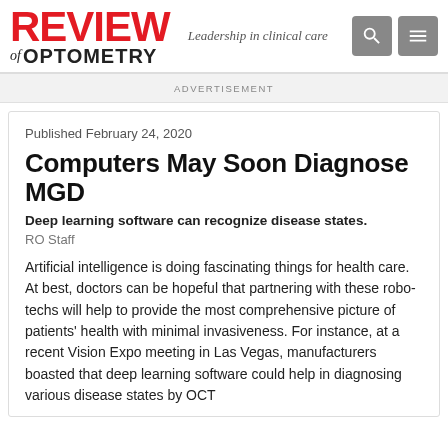Review of Optometry — Leadership in clinical care
ADVERTISEMENT
Published February 24, 2020
Computers May Soon Diagnose MGD
Deep learning software can recognize disease states.
RO Staff
Artificial intelligence is doing fascinating things for health care. At best, doctors can be hopeful that partnering with these robo-techs will help to provide the most comprehensive picture of patients' health with minimal invasiveness. For instance, at a recent Vision Expo meeting in Las Vegas, manufacturers boasted that deep learning software could help in diagnosing various disease states by OCT